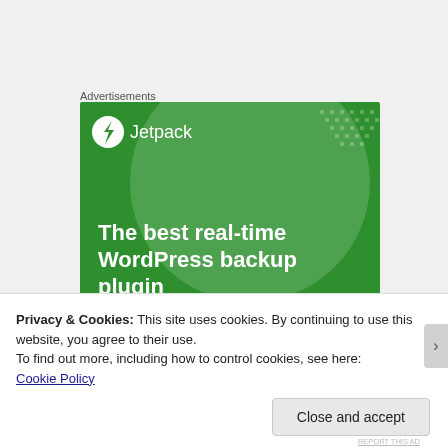Advertisements
[Figure (illustration): Jetpack WordPress backup plugin advertisement banner. Green background with large translucent circle and dot patterns. White Jetpack logo (lightning bolt in circle) with text 'Jetpack'. Bold white text reads: 'The best real-time WordPress backup plugin']
Privacy & Cookies: This site uses cookies. By continuing to use this website, you agree to their use.
To find out more, including how to control cookies, see here:
Cookie Policy
Close and accept
REPORT THIS AD